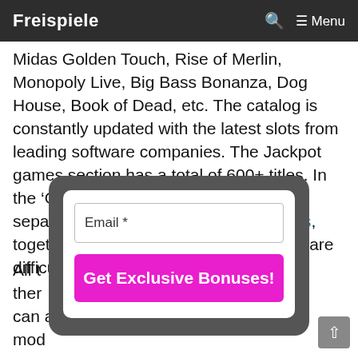Freispiele  Menu
Midas Golden Touch, Rise of Merlin, Monopoly Live, Big Bass Bonanza, Dog House, Book of Dead, etc. The catalog is constantly updated with the latest slots from leading software companies. The Jackpot games section has a total of 600+ titles. In the ‘Other Games’ section there are separated dice, lottery and bingo games, together with other awesome titles, that are difficult to place in one category.
[Figure (other): Modal popup with email input field and a pink 'Get Exclusive Bonuses!' call-to-action button on a dark rounded background]
All t… is ther… ney can a… mod… iz you… payment